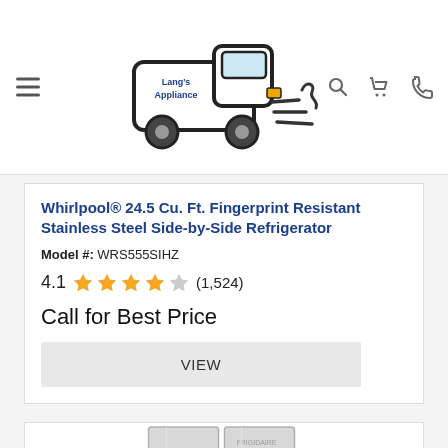[Figure (logo): Lang's Appliance logo — cartoon delivery truck with 'Lang's Appliance' text]
Whirlpool® 24.5 Cu. Ft. Fingerprint Resistant Stainless Steel Side-by-Side Refrigerator
Model #: WRS555SIHZ
4.1 ★★★★☆ (1,524)
Call for Best Price
VIEW
[Figure (photo): Stainless steel side-by-side refrigerator product image]
FILTER & SORT